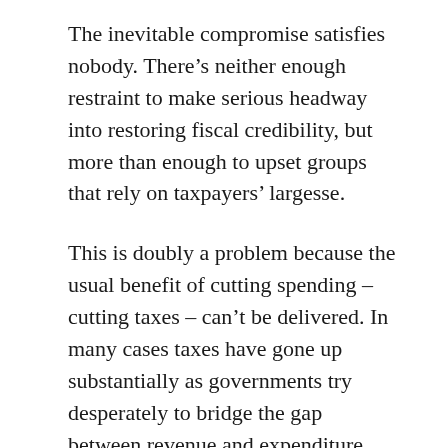The inevitable compromise satisfies nobody. There's neither enough restraint to make serious headway into restoring fiscal credibility, but more than enough to upset groups that rely on taxpayers' largesse.
This is doubly a problem because the usual benefit of cutting spending – cutting taxes – can't be delivered. In many cases taxes have gone up substantially as governments try desperately to bridge the gap between revenue and expenditure. Raising taxes without corresponding increases in services is not the best way to buy popularity.
The second reason is more politically fatalistic.